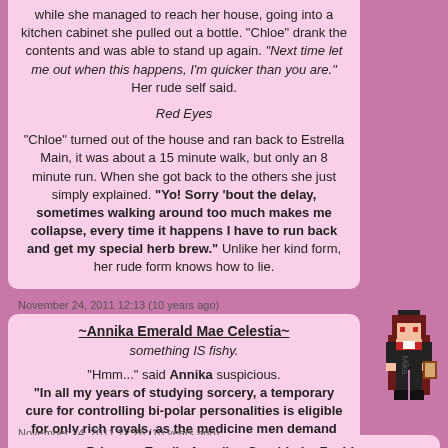while she managed to reach her house, going into a kitchen cabinet she pulled out a bottle. "Chloe" drank the contents and was able to stand up again. "Next time let me out when this happens, I'm quicker than you are." Her rude self said.

Red Eyes

"Chloe" turned out of the house and ran back to Estrella Main, it was about a 15 minute walk, but only an 8 minute run. When she got back to the others she just simply explained. "Yo! Sorry 'bout the delay, sometimes walking around too much makes me collapse, every time it happens I have to run back and get my special herb brew." Unlike her kind form, her rude form knows how to lie.
November 24, 2011 12:13 (10 years ago)
~Annika Emerald Mae Celestia~
something IS fishy.

"Hmm..." said Annika suspicious.
"In all my years of studying sorcery, a temporary cure for controlling bi-polar personalities is eligible for only rich royals, as the medicine men demand high pay for such hard formulas to create. " she reviewed herself.
"Chloe, do you have any money?" she asked.
[Figure (illustration): Pixel art character sprite of a girl with long dark red hair wearing a hat, red and black outfit, with text 'Mika' beside arrows]
November 24, 2011 22:26 (10 years ago)
Princess Emelia Angelica Granido Le Fanida